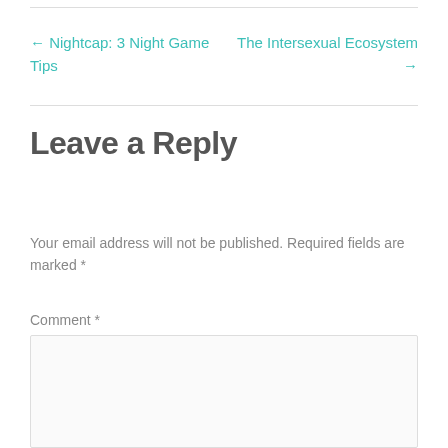← Nightcap: 3 Night Game Tips
The Intersexual Ecosystem →
Leave a Reply
Your email address will not be published. Required fields are marked *
Comment *